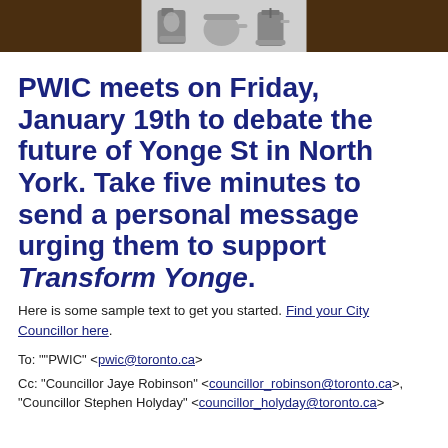[Figure (photo): Header banner with dark brown background and a central grey panel showing kitchen appliances (coffee maker, etc.)]
PWIC meets on Friday, January 19th to debate the future of Yonge St in North York. Take five minutes to send a personal message urging them to support Transform Yonge.
Here is some sample text to get you started. Find your City Councillor here.
To: ""PWIC" <pwic@toronto.ca>
Cc: "Councillor Jaye Robinson" <councillor_robinson@toronto.ca>, "Councillor Stephen Holyday" <councillor_holyday@toronto.ca>